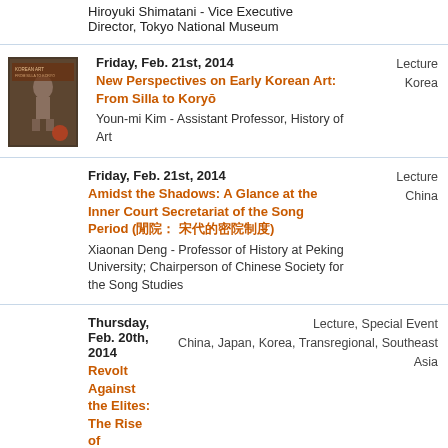Hiroyuki Shimatani - Vice Executive Director, Tokyo National Museum
Friday, Feb. 21st, 2014 | New Perspectives on Early Korean Art: From Silla to Koryŏ | Youn-mi Kim - Assistant Professor, History of Art | Lecture Korea
Friday, Feb. 21st, 2014 | Amidst the Shadows: A Glance at the Inner Court Secretariat of the Song Period (閒院: 宋代的密院制度) | Xiaonan Deng - Professor of History at Peking University; Chairperson of Chinese Society for the Song Studies | Lecture China
Thursday, Feb. 20th, 2014 | Revolt Against the Elites: The Rise of Populism From Thailand to the Tea Party | Ian Buruma - Professor of Human Rights and Journalism, Bard College; Writer, Guardian | Lecture, Special Event China, Japan, Korea, Transregional, Southeast Asia